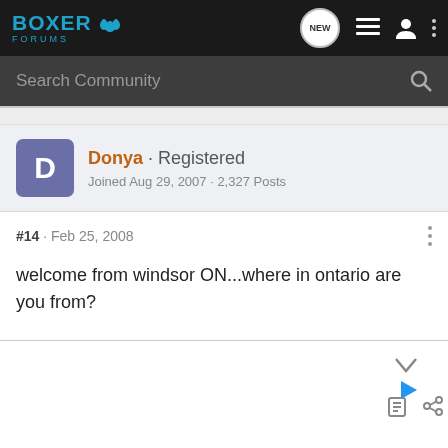BOXER FORUMS
Search Community
Donya · Registered
Joined Aug 29, 2007 · 2,327 Posts
#14 · Feb 25, 2008
welcome from windsor ON...where in ontario are you from?